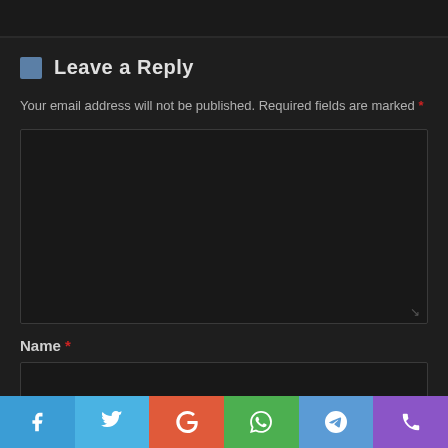Leave a Reply
Your email address will not be published. Required fields are marked *
[Figure (other): Large empty comment textarea input field with dark background and resize handle]
Name *
[Figure (other): Single-line name input text field with dark background]
[Figure (other): Social share button bar with Facebook, Twitter, Google, WhatsApp, Telegram, and Phone icons]